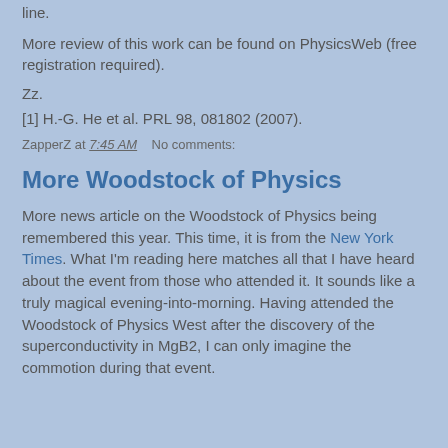line.
More review of this work can be found on PhysicsWeb (free registration required).
Zz.
[1] H.-G. He et al. PRL 98, 081802 (2007).
ZapperZ at 7:45 AM    No comments:
More Woodstock of Physics
More news article on the Woodstock of Physics being remembered this year. This time, it is from the New York Times. What I'm reading here matches all that I have heard about the event from those who attended it. It sounds like a truly magical evening-into-morning. Having attended the Woodstock of Physics West after the discovery of the superconductivity in MgB2, I can only imagine the commotion during that event.